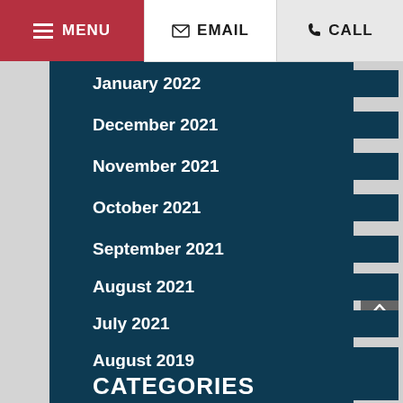MENU | EMAIL | CALL
January 2022
December 2021
November 2021
October 2021
September 2021
August 2021
July 2021
August 2019
CATEGORIES